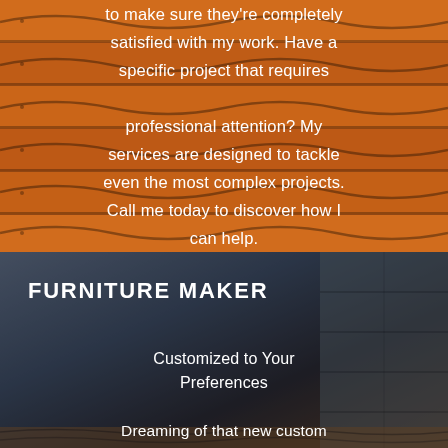[Figure (photo): Wooden planks background in warm orange-brown tones with wavy wood grain lines and dark gaps between planks. White text overlaid reading: 'to make sure they're completely satisfied with my work. Have a specific project that requires professional attention? My services are designed to tackle even the most complex projects. Call me today to discover how I can help.']
to make sure they're completely satisfied with my work. Have a specific project that requires professional attention? My services are designed to tackle even the most complex projects. Call me today to discover how I can help.
[Figure (photo): Man in dark navy sweater looking downward, standing against a concrete/stone wall background. Dark moody tones. Text overlaid reading 'FURNITURE MAKER', 'Customized to Your Preferences', and 'Dreaming of that new custom']
FURNITURE MAKER
Customized to Your Preferences
Dreaming of that new custom